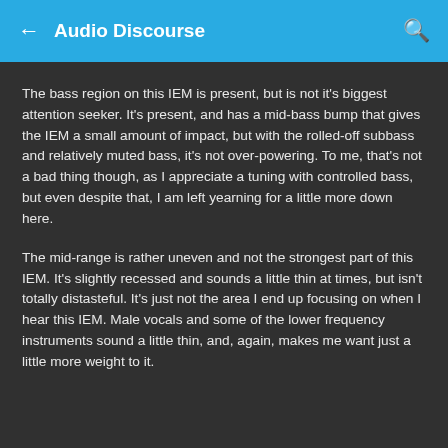Audio Discourse
The bass region on this IEM is present, but is not it's biggest attention seeker. It's present, and has a mid-bass bump that gives the IEM a small amount of impact, but with the rolled-off subbass and relatively muted bass, it's not over-powering. To me, that's not a bad thing though, as I appreciate a tuning with controlled bass, but even despite that, I am left yearning for a little more down here.
The mid-range is rather uneven and not the strongest part of this IEM. It's slightly recessed and sounds a little thin at times, but isn't totally distasteful. It's just not the area I end up focusing on when I hear this IEM. Male vocals and some of the lower frequency instruments sound a little thin, and, again, makes me want just a little more weight to it.